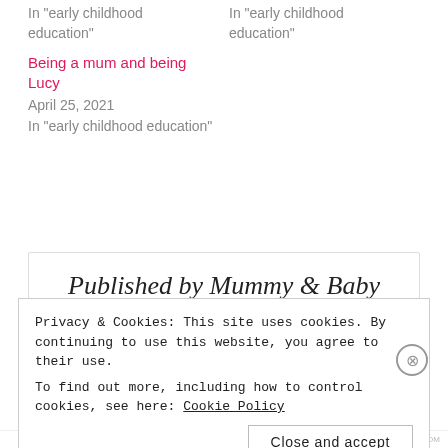In "early childhood education"
In "early childhood education"
Being a mum and being Lucy
April 25, 2021
In "early childhood education"
Published by Mummy & Baby
Privacy & Cookies: This site uses cookies. By continuing to use this website, you agree to their use.
To find out more, including how to control cookies, see here: Cookie Policy
Close and accept